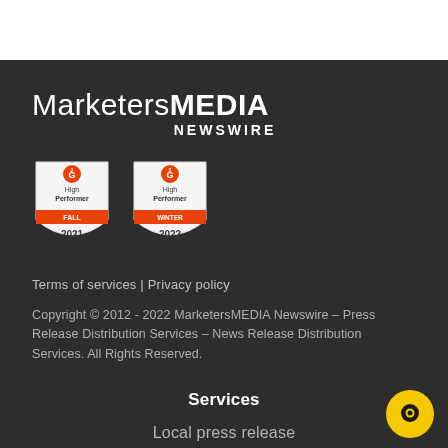[Figure (logo): MarketersMEDIA NEWSWIRE logo in white text on dark background]
[Figure (illustration): Two G2 High Performer badges: Fall 2021 and Winter 2022]
Terms of services | Privacy policy
Copyright © 2012 - 2022 MarketersMEDIA Newswire – Press Release Distribution Services – News Release Distribution Services. All Rights Reserved.
Services
Local press release